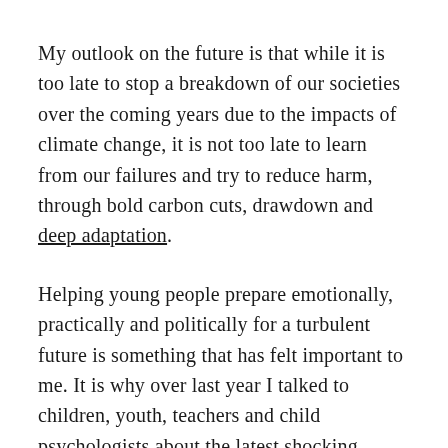My outlook on the future is that while it is too late to stop a breakdown of our societies over the coming years due to the impacts of climate change, it is not too late to learn from our failures and try to reduce harm, through bold carbon cuts, drawdown and deep adaptation.
Helping young people prepare emotionally, practically and politically for a turbulent future is something that has felt important to me. It is why over last year I talked to children, youth, teachers and child psychologists about the latest shocking climate news and the worst-case scenarios.